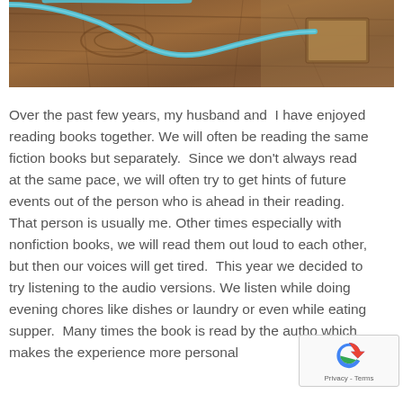[Figure (photo): Close-up photo of a wooden surface (table or floor) with a light blue cable/cord curving across it, and what appears to be a small book or object in the upper right area.]
Over the past few years, my husband and  I have enjoyed reading books together. We will often be reading the same fiction books but separately.  Since we don't always read at the same pace, we will often try to get hints of future events out of the person who is ahead in their reading. That person is usually me. Other times especially with nonfiction books, we will read them out loud to each other, but then our voices will get tired.  This year we decided to try listening to the audio versions. We listen while doing evening chores like dishes or laundry or even while eating supper.  Many times the book is read by the autho which makes the experience more personal